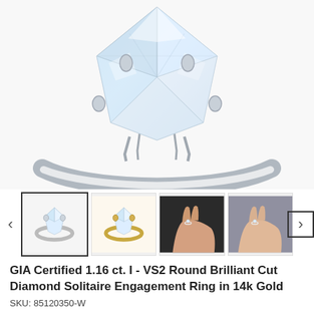[Figure (photo): Close-up photo of a diamond solitaire engagement ring with large round brilliant cut diamond in white gold/platinum prong setting, shown from a side/top angle against white background]
[Figure (photo): Thumbnail gallery row showing four images: (1) white gold solitaire ring with round diamond, (2) yellow gold solitaire ring with round diamond, (3) ring worn on hand with dark background, (4) ring worn on hand with lighter background. Left and right navigation arrows flank the thumbnails.]
GIA Certified 1.16 ct. I - VS2 Round Brilliant Cut Diamond Solitaire Engagement Ring in 14k Gold
SKU: 85120350-W